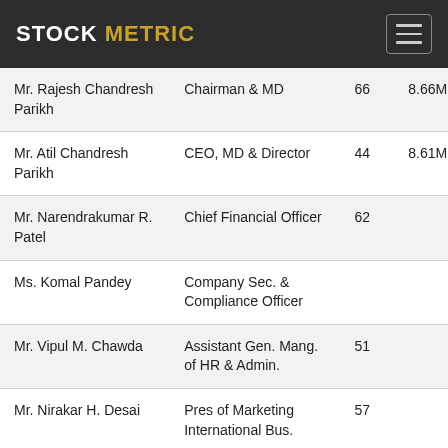STOCK METRIC
| Name | Title | Age | Compensation |
| --- | --- | --- | --- |
| Mr. Rajesh Chandresh Parikh | Chairman & MD | 66 | 8.66M |
| Mr. Atil Chandresh Parikh | CEO, MD & Director | 44 | 8.61M |
| Mr. Narendrakumar R. Patel | Chief Financial Officer | 62 |  |
| Ms. Komal Pandey | Company Sec. & Compliance Officer |  |  |
| Mr. Vipul M. Chawda | Assistant Gen. Mang. of HR & Admin. | 51 |  |
| Mr. Nirakar H. Desai | Pres of Marketing International Bus. | 57 |  |
| Mr. Ajay P. Joshi | Sr. VP of Operations | 53 |  |